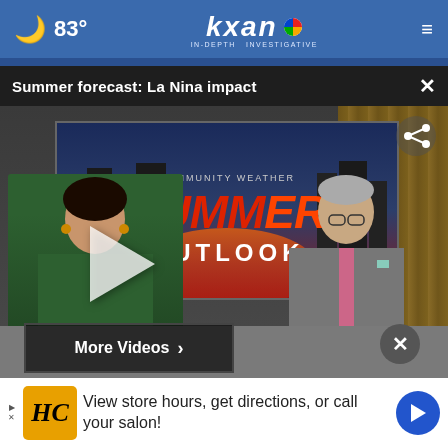83° kxan IN-DEPTH INVESTIGATIVE
Summer forecast: La Nina impact
[Figure (screenshot): KXAN news broadcast screenshot showing two anchors (BRITT MORENO and ROBERT HARLOCK) at a studio desk with a 'Summer Outlook' weather graphic on screen behind them, with a play button overlay]
More Videos ›
View store hours, get directions, or call your salon!